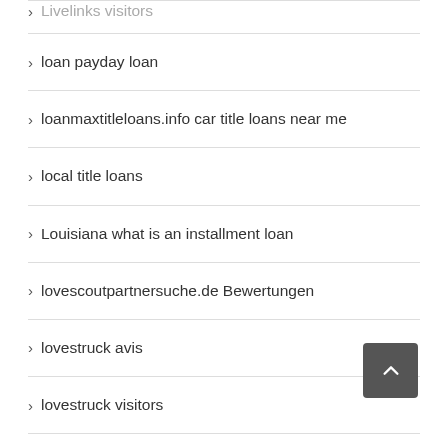Livelinks visitors
loan payday loan
loanmaxtitleloans.info car title loans near me
local title loans
Louisiana what is an installment loan
lovescoutpartnersuche.de Bewertungen
lovestruck avis
lovestruck visitors
lovoo sito di incontri